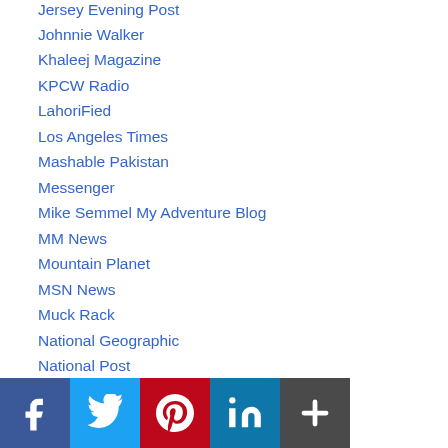Jersey Evening Post
Johnnie Walker
Khaleej Magazine
KPCW Radio
LahoriFied
Los Angeles Times
Mashable Pakistan
Messenger
Mike Semmel My Adventure Blog
MM News
Mountain Planet
MSN News
Muck Rack
National Geographic
National Post
National Ski Council Federation
National Women's History Museum
News Pakistan